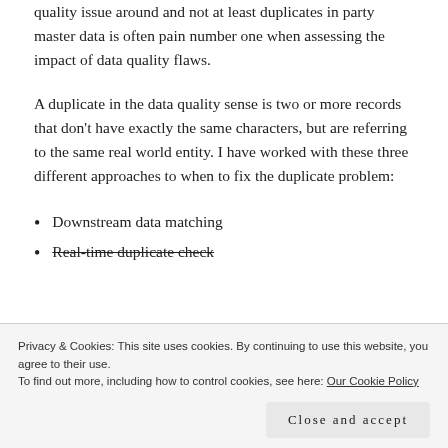quality issue around and not at least duplicates in party master data is often pain number one when assessing the impact of data quality flaws.
A duplicate in the data quality sense is two or more records that don’t have exactly the same characters, but are referring to the same real world entity. I have worked with these three different approaches to when to fix the duplicate problem:
Downstream data matching
Real-time duplicate check
Privacy & Cookies: This site uses cookies. By continuing to use this website, you agree to their use.
To find out more, including how to control cookies, see here: Our Cookie Policy
Close and accept